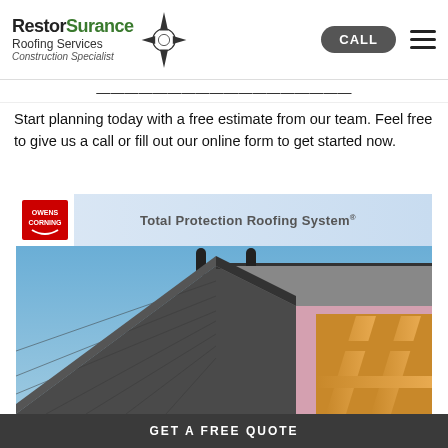RestorSurance Roofing Services - Construction Specialist | CALL | Menu
Start planning today with a free estimate from our team. Feel free to give us a call or fill out our online form to get started now.
[Figure (photo): Owens Corning Total Protection Roofing System banner with logo and a photo showing a cross-section of a roof with shingles, underlayment, and wood framing against a blue sky.]
GET A FREE QUOTE